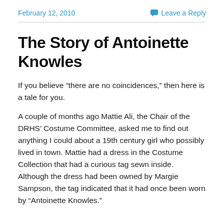February 12, 2010   Leave a Reply
The Story of Antoinette Knowles
If you believe “there are no coincidences,” then here is a tale for you.
A couple of months ago Mattie Ali, the Chair of the DRHS’ Costume Committee, asked me to find out anything I could about a 19th century girl who possibly lived in town. Mattie had a dress in the Costume Collection that had a curious tag sewn inside.  Although the dress had been owned by Margie Sampson, the tag indicated that it had once been worn by “Antoinette Knowles.”